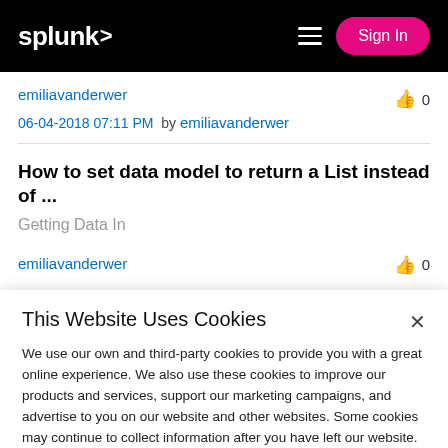splunk> Sign In
emiliavanderwer 👍 0
06-04-2018 07:11 PM   by emiliavanderwer
How to set data model to return a List instead of ...
Getting Data In
emiliavanderwer 👍 0
This Website Uses Cookies
We use our own and third-party cookies to provide you with a great online experience. We also use these cookies to improve our products and services, support our marketing campaigns, and advertise to you on our website and other websites. Some cookies may continue to collect information after you have left our website. Learn more here ›
Accept Cookies   Cookies Settings ›